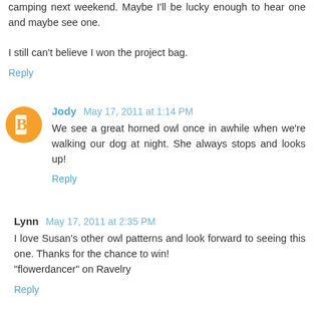camping next weekend. Maybe I'll be lucky enough to hear one and maybe see one.

I still can't believe I won the project bag.
Reply
Jody May 17, 2011 at 1:14 PM
We see a great horned owl once in awhile when we're walking our dog at night. She always stops and looks up!
Reply
Lynn May 17, 2011 at 2:35 PM
I love Susan's other owl patterns and look forward to seeing this one. Thanks for the chance to win!
"flowerdancer" on Ravelry
Reply